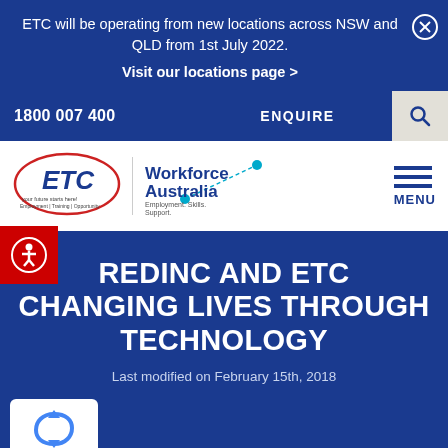ETC will be operating from new locations across NSW and QLD from 1st July 2022.
Visit our locations page >
1800 007 400
ENQUIRE
[Figure (logo): ETC logo with red oval and blue text]
[Figure (logo): Workforce Australia Employment. Skills. Support. logo]
MENU
[Figure (logo): Accessibility icon - person in circle on red background]
REDINC AND ETC CHANGING LIVES THROUGH TECHNOLOGY
Last modified on February 15th, 2018
[Figure (logo): Google reCAPTCHA Privacy - Terms badge]